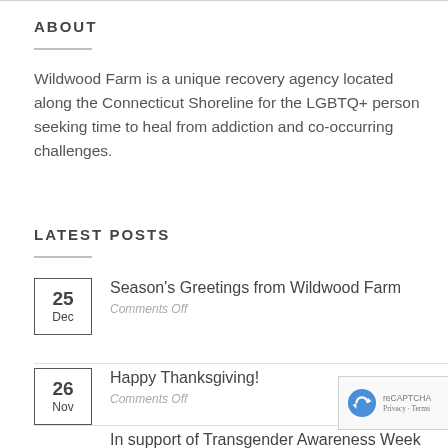ABOUT
Wildwood Farm is a unique recovery agency located along the Connecticut Shoreline for the LGBTQ+ person seeking time to heal from addiction and co-occurring challenges.
LATEST POSTS
25 Dec — Season's Greetings from Wildwood Farm — Comments Off
26 Nov — Happy Thanksgiving! — Comments Off
In support of Transgender Awareness Week